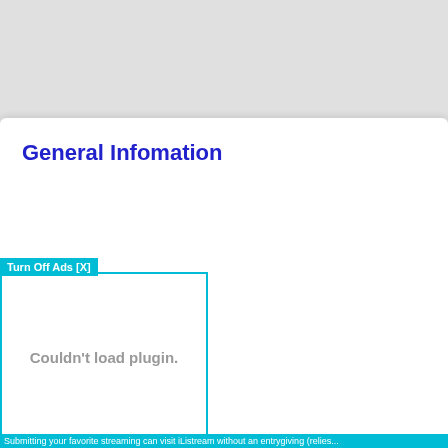General Infomation
[Figure (screenshot): Ad box with 'Turn Off Ads [X]' label and 'Couldn't load plugin.' message inside a cyan-bordered box]
Submitting your favorite streaming can visit iListream without an entrygiving (relies...